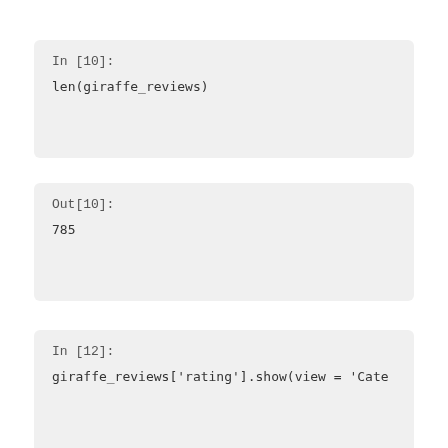In [10]:

len(giraffe_reviews)
Out[10]:

785
In [12]:

giraffe_reviews['rating'].show(view = 'Cate